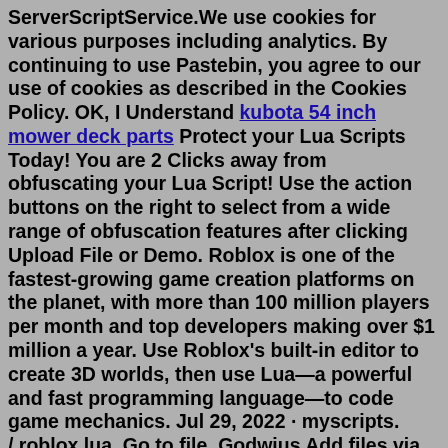ServerScriptService.We use cookies for various purposes including analytics. By continuing to use Pastebin, you agree to our use of cookies as described in the Cookies Policy. OK, I Understand kubota 54 inch mower deck parts Protect your Lua Scripts Today! You are 2 Clicks away from obfuscating your Lua Script! Use the action buttons on the right to select from a wide range of obfuscation features after clicking Upload File or Demo. Roblox is one of the fastest-growing game creation platforms on the planet, with more than 100 million players per month and top developers making over $1 million a year. Use Roblox's built-in editor to create 3D worlds, then use Lua—a powerful and fast programming language—to code game mechanics. Jul 29, 2022 · myscripts. /.roblox.lua. Go to file. Godwius Add files via upload. Latest commit da366dd 4 hours ago History. 1 contributor. 9 lines (7 sloc) 8.81 KB. Raw Blame. Aug 20, 2019 · This scripts works on any roblox game. The other games option only has one but version 1.1 will